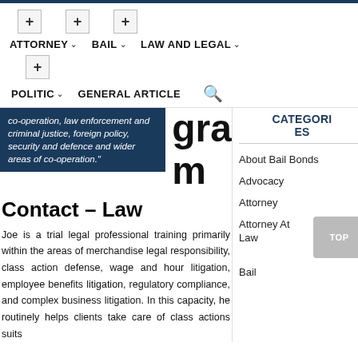ATTORNEY  BAIL  LAW AND LEGAL  POLITIC  GENERAL ARTICLE
co-operation, law enforcement and criminal justice, foreign policy, security and defence and wider areas of co-operation."
gram
CATEGORIES
Contact – Law
Joe is a trial legal professional training primarily within the areas of merchandise legal responsibility, class action defense, wage and hour litigation, employee benefits litigation, regulatory compliance, and complex business litigation. In this capacity, he routinely helps clients take care of class actions suits
About Bail Bonds
Advocacy
Attorney
Attorney At Law
Bail